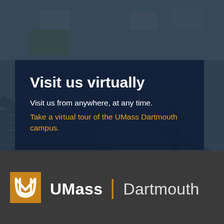[Figure (photo): Aerial view of UMass Dartmouth campus from above, showing buildings, parking lots, and green spaces with a dark blue tint overlay.]
Visit us virtually
Visit us from anywhere, at any time.
Take a virtual tour of the UMass Dartmouth campus.
[Figure (logo): UMass Dartmouth logo: gold square with stylized UMass logo mark, followed by 'UMass | Dartmouth' wordmark in white on dark grey background.]